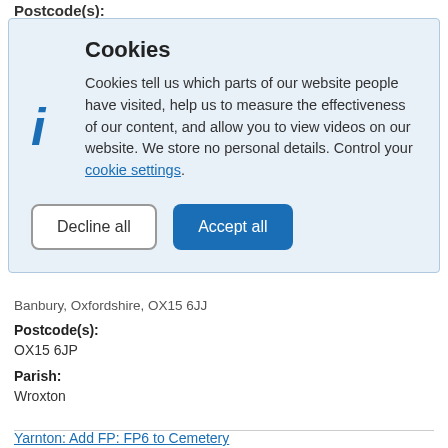Postcode(s):
[Figure (other): Cookie consent banner with 'Cookies' heading, informational icon, descriptive text about cookies, a 'Decline all' button and an 'Accept all' button]
Banbury, Oxfordshire, OX15 6JJ
Postcode(s):
OX15 6JP
Parish:
Wroxton
Yarnton: Add FP: FP6 to Cemetery